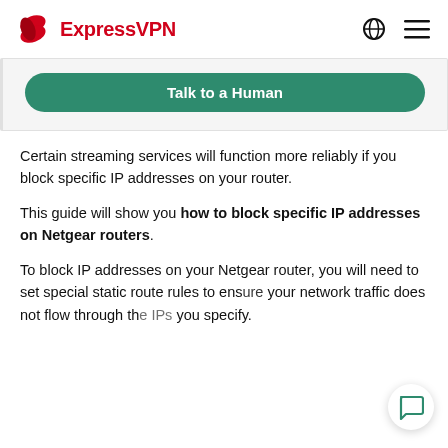ExpressVPN
[Figure (other): Talk to a Human green button inside a light grey card section]
Certain streaming services will function more reliably if you block specific IP addresses on your router.
This guide will show you how to block specific IP addresses on Netgear routers.
To block IP addresses on your Netgear router, you will need to set special static route rules to ensure your network traffic does not flow through the IPs you specify.